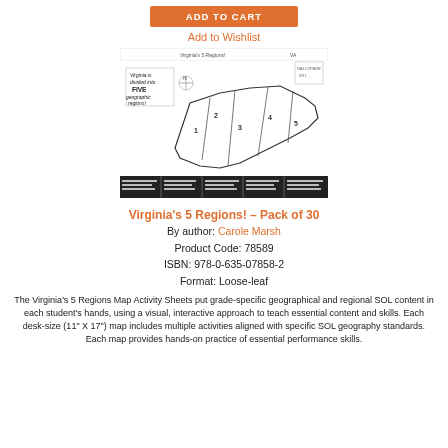ADD TO CART
Add to Wishlist
[Figure (illustration): Preview image of Virginia's 5 Regions map activity sheet showing a black and white map of Virginia divided into 5 geographic regions with numbered labels, compass rose, and a table of activities below.]
Virginia's 5 Regions! – Pack of 30
By author: Carole Marsh
Product Code: 78589
ISBN: 978-0-635-07858-2
Format: Loose-leaf
The Virginia's 5 Regions Map Activity Sheets put grade-specific geographical and regional SOL content in each student's hands, using a visual, interactive approach to teach essential content and skills. Each desk-size (11" X 17") map includes multiple activities aligned with specific SOL geography standards. Each map provides hands-on practice of essential performance skills.